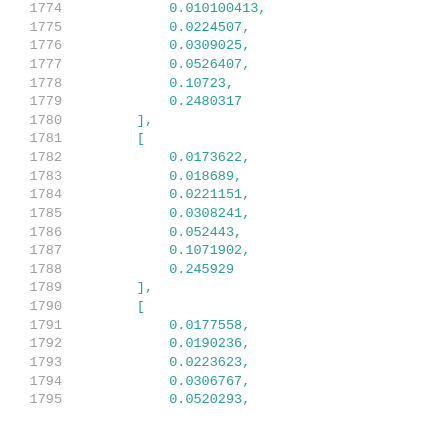1774    0.010100413,
1775    0.0224507,
1776    0.0309025,
1777    0.0526407,
1778    0.10723,
1779    0.2480317
1780    ],
1781    [
1782    0.0173622,
1783    0.018689,
1784    0.0221151,
1785    0.0308241,
1786    0.052443,
1787    0.1071902,
1788    0.245929
1789    ],
1790    [
1791    0.0177558,
1792    0.0190236,
1793    0.0223623,
1794    0.0306767,
1795    0.0520293,